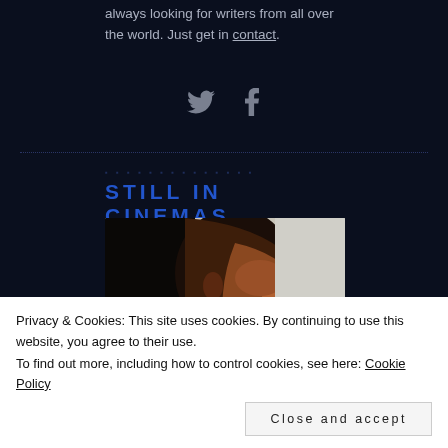always looking for writers from all over the world. Just get in contact.
[Figure (illustration): Twitter bird icon and Facebook 'f' icon in gray]
STILL IN CINEMAS
[Figure (photo): Close-up side profile of a Black man's face against a light background]
Privacy & Cookies: This site uses cookies. By continuing to use this website, you agree to their use. To find out more, including how to control cookies, see here: Cookie Policy
Close and accept